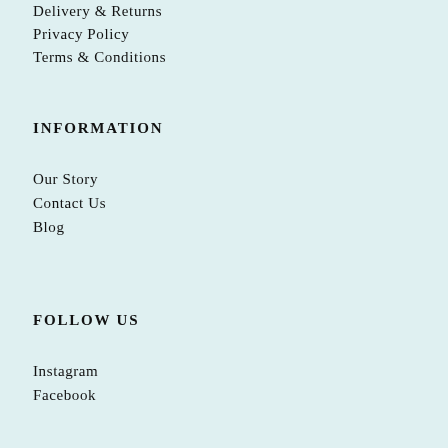Delivery & Returns
Privacy Policy
Terms & Conditions
INFORMATION
Our Story
Contact Us
Blog
FOLLOW US
Instagram
Facebook